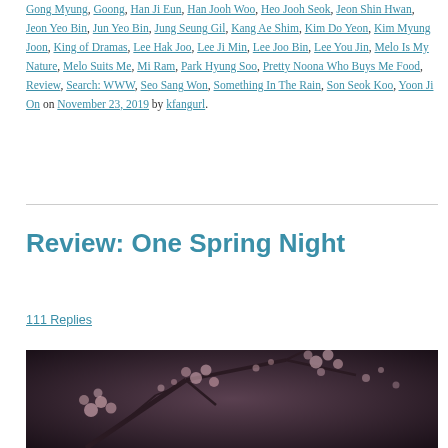Gong Myung, Goong, Han Ji Eun, Han Jooh Woo, Heo Jooh Seok, Jeon Shin Hwan, Jeon Yeo Bin, Jun Yeo Bin, Jung Seung Gil, Kang Ae Shim, Kim Do Yeon, Kim Myung Joon, King of Dramas, Lee Hak Joo, Lee Ji Min, Lee Joo Bin, Lee You Jin, Melo Is My Nature, Melo Suits Me, Mi Ram, Park Hyung Soo, Pretty Noona Who Buys Me Food, Review, Search: WWW, Seo Sang Won, Something In The Rain, Son Seok Koo, Yoon Ji On on November 23, 2019 by kfangurl.
Review: One Spring Night
111 Replies
[Figure (photo): Dark toned photograph of cherry blossom branches with small pink flowers against a muted dark background]